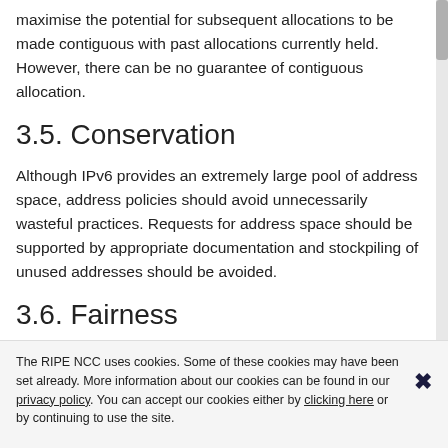maximise the potential for subsequent allocations to be made contiguous with past allocations currently held. However, there can be no guarantee of contiguous allocation.
3.5. Conservation
Although IPv6 provides an extremely large pool of address space, address policies should avoid unnecessarily wasteful practices. Requests for address space should be supported by appropriate documentation and stockpiling of unused addresses should be avoided.
3.6. Fairness
All policies and practices relating to the use of
The RIPE NCC uses cookies. Some of these cookies may have been set already. More information about our cookies can be found in our privacy policy. You can accept our cookies either by clicking here or by continuing to use the site.